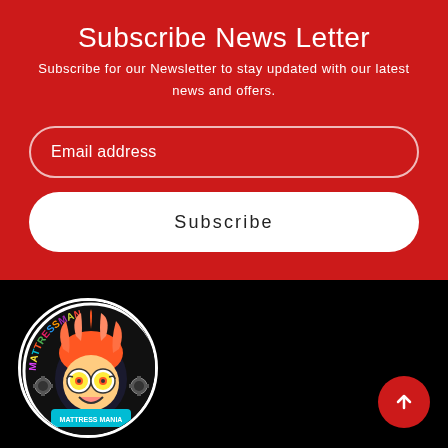Subscribe News Letter
Subscribe for our Newsletter to stay updated with our latest news and offers.
Email address
Subscribe
[Figure (logo): Mattress Mania store logo — circular badge with colorful lettering and cartoon mascot character with red hair and swirl glasses]